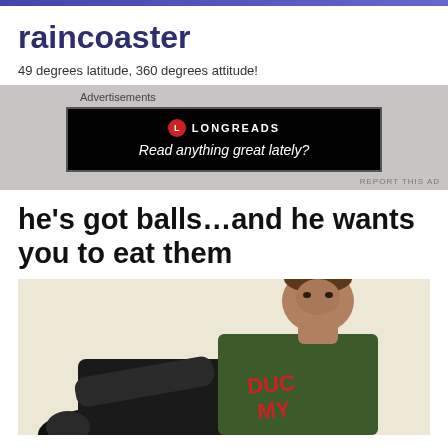raincoaster
49 degrees latitude, 360 degrees attitude!
[Figure (screenshot): Advertisement banner: Longreads — Read anything great lately?]
he's got balls…and he wants you to eat them
[Figure (photo): Man in dark green t-shirt with red text 'DUCK MY' posing against light background]